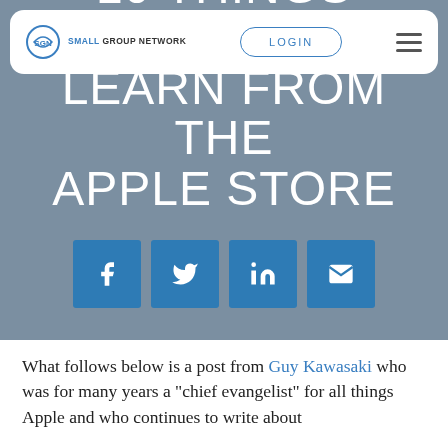SGN SMALL GROUP NETWORK | LOGIN
10 THINGS CHURCHES CAN LEARN FROM THE APPLE STORE
[Figure (infographic): Four social share buttons: Facebook, Twitter, LinkedIn, Email]
What follows below is a post from Guy Kawasaki who was for many years a “chief evangelist” for all things Apple and who continues to write about